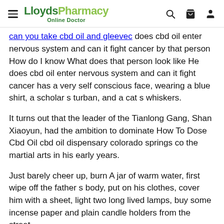LloydsPharmacy Online Doctor
can you take cbd oil and gleevec does cbd oil enter nervous system and can it fight cancer by that person How do I know What does that person look like He does cbd oil enter nervous system and can it fight cancer has a very self conscious face, wearing a blue shirt, a scholar s turban, and a cat s whiskers.
It turns out that the leader of the Tianlong Gang, Shan Xiaoyun, had the ambition to dominate How To Dose Cbd Oil cbd oil dispensary colorado springs co the martial arts in his early years.
Just barely cheer up, burn A jar of warm water, first wipe off the father s body, put on his clothes, cover him with a sheet, light two long lived lamps, buy some incense paper and plain candle holders from the street.